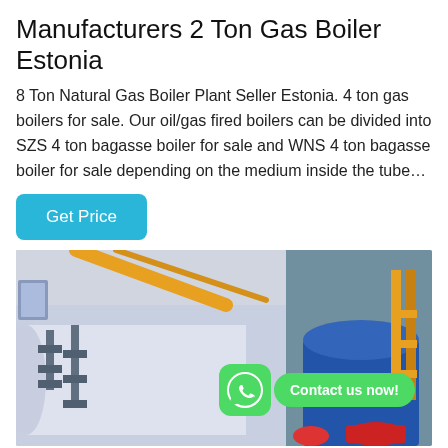Manufacturers 2 Ton Gas Boiler Estonia
8 Ton Natural Gas Boiler Plant Seller Estonia. 4 ton gas boilers for sale. Our oil/gas fired boilers can be divided into SZS 4 ton bagasse boiler for sale and WNS 4 ton bagasse boiler for sale depending on the medium inside the tube…
Get Price
[Figure (photo): Industrial gas boiler installation inside a facility. Left side shows large cylindrical white/silver boiler with blue pipe fittings and valves. Right side shows a blue cylindrical boiler with yellow pipe framework and red components. WhatsApp contact button overlaid on image with 'Contact us now!' speech bubble.]